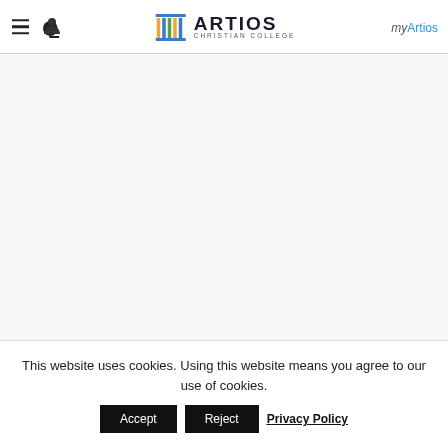Artios Christian College navigation bar with hamburger menu, person icon, Artios Christian College logo, and myArtios link
[Figure (logo): Artios Christian College logo with columned building icon and text ARTIOS CHRISTIAN COLLEGE]
myArtios
This website uses cookies. Using this website means you agree to our use of cookies.
Accept
Reject
Privacy Policy